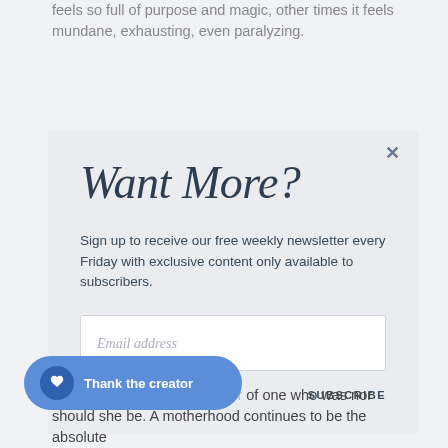feels so full of purpose and magic, other times it feels mundane, exhausting, even paralyzing.
Want More?
Sign up to receive our free weekly newsletter every Friday with exclusive content only available to subscribers.
Email address
SUBSCRIBE
good mother of one who was nor should she be. A motherhood continues to be the absolute